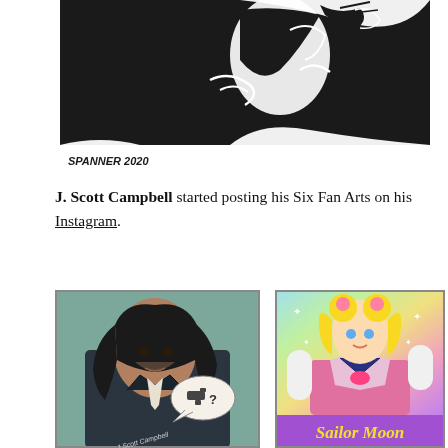[Figure (illustration): Black and white ink illustration of a figure with dramatic lighting, signed 'SPANNER 2020' in the lower left corner]
J. Scott Campbell started posting his Six Fan Arts on his Instagram.
[Figure (illustration): Colored comic art illustration of John Wick character with long dark hair in a suit, with a speech bubble containing a gun icon and question mark]
[Figure (illustration): Colored illustration of Sailor Moon character with blonde twin-tails hair on a colorful rainbow background, with 'Sailor Moon' text at the bottom]